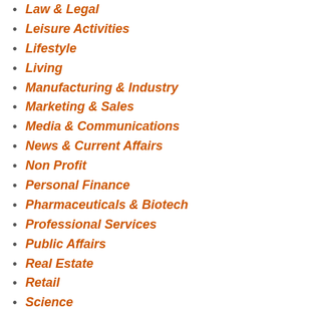Law & Legal
Leisure Activities
Lifestyle
Living
Manufacturing & Industry
Marketing & Sales
Media & Communications
News & Current Affairs
Non Profit
Personal Finance
Pharmaceuticals & Biotech
Professional Services
Public Affairs
Real Estate
Retail
Science
Services
Shopping & Deal
Society & Culture